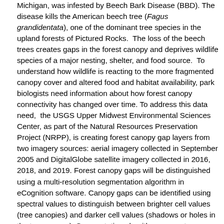Michigan, was infested by Beech Bark Disease (BBD). The disease kills the American beech tree (Fagus grandidentata), one of the dominant tree species in the upland forests of Pictured Rocks.  The loss of the beech trees creates gaps in the forest canopy and deprives wildlife species of a major nesting, shelter, and food source.  To understand how wildlife is reacting to the more fragmented canopy cover and altered food and habitat availability, park biologists need information about how forest canopy connectivity has changed over time. To address this data need,  the USGS Upper Midwest Environmental Sciences Center, as part of the Natural Resources Preservation Project (NRPP), is creating forest canopy gap layers from two imagery sources: aerial imagery collected in September 2005 and DigitalGlobe satellite imagery collected in 2016, 2018, and 2019. Forest canopy gaps will be distinguished using a multi-resolution segmentation algorithm in eCognition software. Canopy gaps can be identified using spectral values to distinguish between brighter cell values (tree canopies) and darker cell values (shadows or holes in the tree canopy). Segmentation algorithm parameters established by Nymageroh et al. will be used to determine settings in this project. Forest